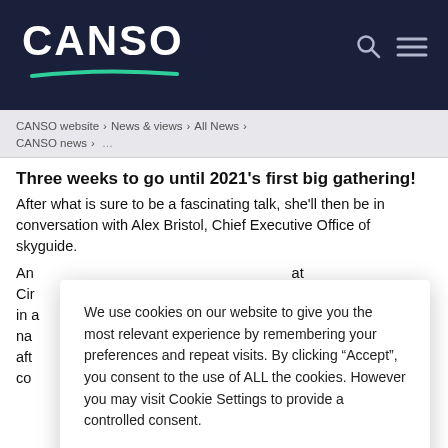[Figure (logo): CANSO website logo with white bold text and green swoosh underline on dark navy background, with search and menu icons top right]
CANSO website > News & views > All News > CANSO news >
Three weeks to go until 2021's first big gathering!
After what is sure to be a fascinating talk, she'll then be in conversation with Alex Bristol, Chief Executive Office of skyguide.
An… at Cir… al in a… na… 20 aft… s co…
We use cookies on our website to give you the most relevant experience by remembering your preferences and repeat visits. By clicking “Accept”, you consent to the use of ALL the cookies. However you may visit Cookie Settings to provide a controlled consent.
Cookie settings | ACCEPT